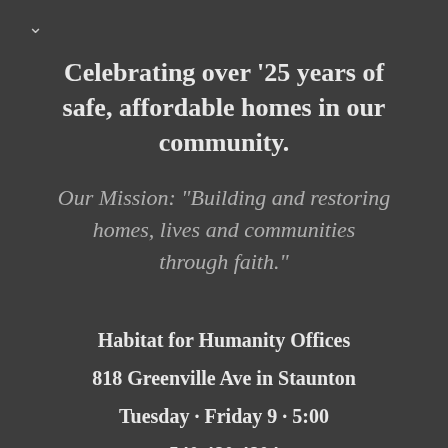∨
Celebrating over 25 years of safe, affordable homes in our community.
Our Mission: "Building and restoring homes, lives and communities through faith."
Habitat for Humanity Offices
818 Greenville Ave in Staunton
Tuesday · Friday 9 · 5:00
540 480 4804